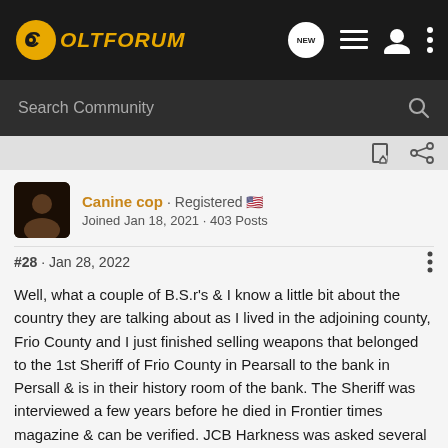ColtForum
Search Community
Canine cop · Registered
Joined Jan 18, 2021 · 403 Posts
#28 · Jan 28, 2022
Well, what a couple of B.S.r's & I know a little bit about the country they are talking about as I lived in the adjoining county, Frio County and I just finished selling weapons that belonged to the 1st Sheriff of Frio County in Pearsall to the bank in Persall & is in their history room of the bank. The Sheriff was interviewed a few years before he died in Frontier times magazine & can be verified. JCB Harkness was asked several times about his encounter w/ outlaws in his tenure, but wouldn't talk about his